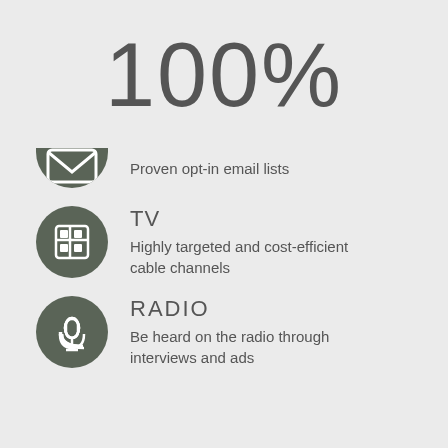100%
Proven opt-in email lists
TV
Highly targeted and cost-efficient cable channels
RADIO
Be heard on the radio through interviews and ads